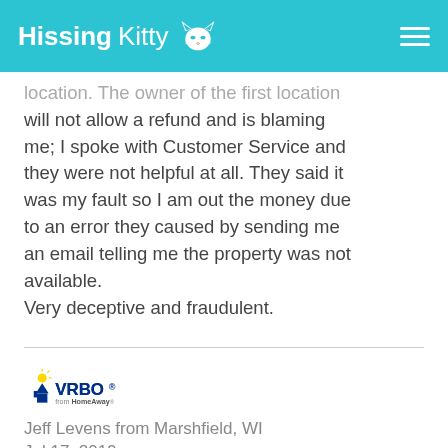HissingKitty
location. The owner of the first location will not allow a refund and is blaming me; I spoke with Customer Service and they were not helpful at all. They said it was my fault so I am out the money due to an error they caused by sending me an email telling me the property was not available.
Very deceptive and fraudulent.
[Figure (logo): VRBO from HomeAway logo]
Jeff Levens from Marshfield, WI
Jul 17, 2019
[Figure (other): Star rating: 1 out of 5 stars]